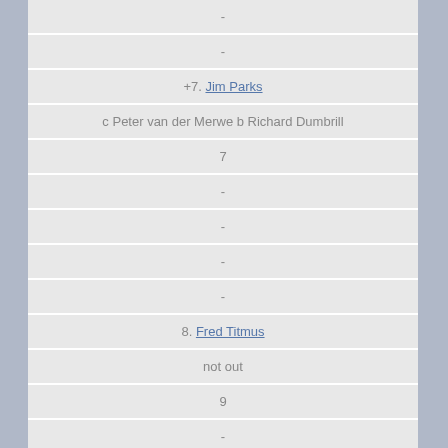| - |
| - |
| +7. Jim Parks |
| c Peter van der Merwe b Richard Dumbrill |
| 7 |
| - |
| - |
| - |
| - |
| 8. Fred Titmus |
| not out |
| 9 |
| - |
| - |
| - |
| - |
| 9. David Brown |
| c Eddie Barlow b Graeme Pollock |